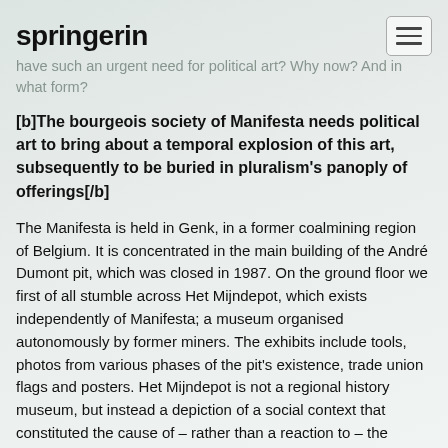springerin
have such an urgent need for political art? Why now? And in what form?
[b]The bourgeois society of Manifesta needs political art to bring about a temporal explosion of this art, subsequently to be buried in pluralism's panoply of offerings[/b]
The Manifesta is held in Genk, in a former coalmining region of Belgium. It is concentrated in the main building of the André Dumont pit, which was closed in 1987. On the ground floor we first of all stumble across Het Mijndepot, which exists independently of Manifesta; a museum organised autonomously by former miners. The exhibits include tools, photos from various phases of the pit's existence, trade union flags and posters. Het Mijndepot is not a regional history museum, but instead a depiction of a social context that constituted the cause of – rather than a reaction to – the closure of the mines. In this context every object displayed is there for a specific reason and is accompanied by its own specific history.